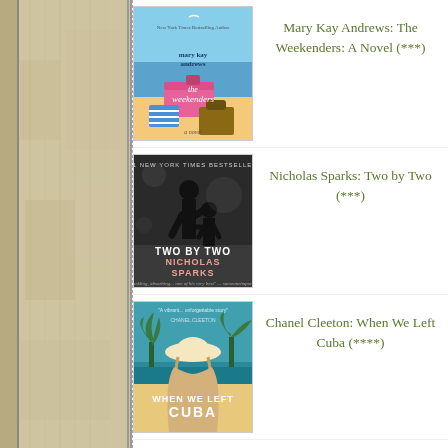[Figure (photo): Decorative left sidebar with textured tan/beige background resembling fabric or paper, with vertical border lines]
[Figure (photo): Book cover: Mary Kay Andrews 'The Weekenders' - beach scene with pink luggage, striped bag, and umbrella]
Mary Kay Andrews: The Weekenders: A Novel (***)
[Figure (photo): Book cover: Nicholas Sparks 'Two by Two' - silhouette of adult and child walking, dark moody background]
Nicholas Sparks: Two by Two (***)
[Figure (photo): Book cover: Chanel Cleeton 'When We Left Cuba' - woman in hat with palm trees and teal sky]
Chanel Cleeton: When We Left Cuba (****)